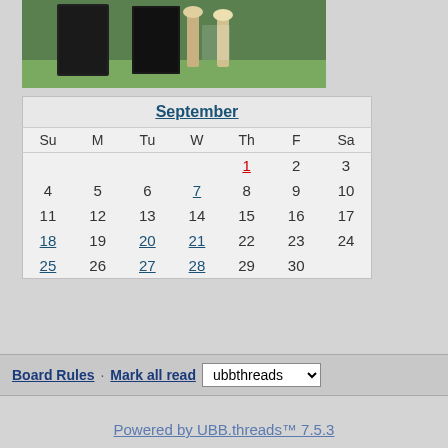[Figure (photo): Photo of wine bottles and glasses on a table outdoors]
| Su | M | Tu | W | Th | F | Sa |
| --- | --- | --- | --- | --- | --- | --- |
|  |  |  |  | 1 | 2 | 3 |
| 4 | 5 | 6 | 7 | 8 | 9 | 10 |
| 11 | 12 | 13 | 14 | 15 | 16 | 17 |
| 18 | 19 | 20 | 21 | 22 | 23 | 24 |
| 25 | 26 | 27 | 28 | 29 | 30 |  |
Board Rules · Mark all read  ubbthreads
Powered by UBB.threads™ 7.5.3